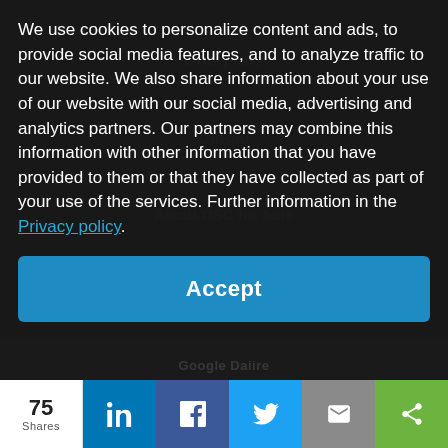We use cookies to personalize content and ads, to provide social media features, and to analyze traffic to our website. We also share information about your use of our website with our social media, advertising and analytics partners. Our partners may combine this information with other information that you have provided to them or that they have collected as part of your use of the services. Further information in the Privacy policy.
Accept
75 Shares